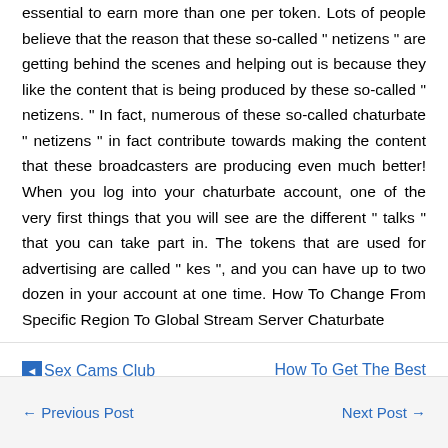essential to earn more than one per token. Lots of people believe that the reason that these so-called " netizens " are getting behind the scenes and helping out is because they like the content that is being produced by these so-called " netizens. " In fact, numerous of these so-called chaturbate " netizens " in fact contribute towards making the content that these broadcasters are producing even much better! When you log into your chaturbate account, one of the very first things that you will see are the different " talks " that you can take part in. The tokens that are used for advertising are called " kes ", and you can have up to two dozen in your account at one time. How To Change From Specific Region To Global Stream Server Chaturbate
◄Sex Cams Club
How To Get The Best Lighting On Chaturbate►
← Previous Post    Next Post →